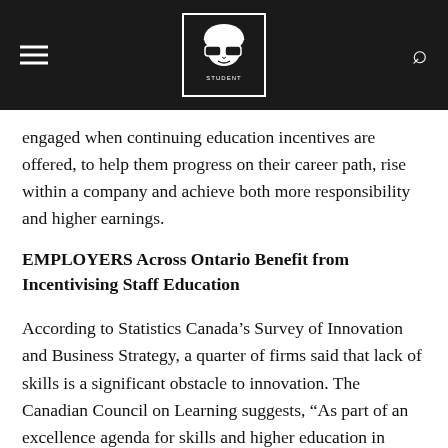STUDENT [logo with hamburger menu and search icon]
engaged when continuing education incentives are offered, to help them progress on their career path, rise within a company and achieve both more responsibility and higher earnings.
EMPLOYERS Across Ontario Benefit from Incentivising Staff Education
According to Statistics Canada’s Survey of Innovation and Business Strategy, a quarter of firms said that lack of skills is a significant obstacle to innovation. The Canadian Council on Learning suggests, “As part of an excellence agenda for skills and higher education in Canada, employers need to take more responsibility for the training that, ultimately, produces great benefits for them. All stakeholders should take action to reduce